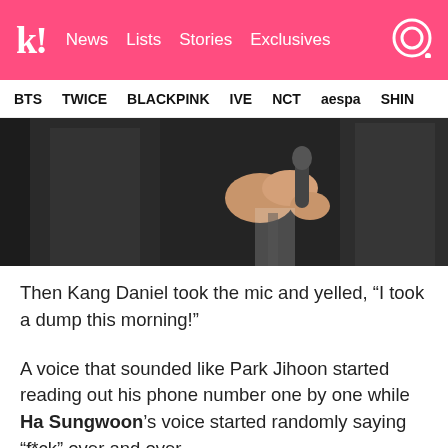kk! News Lists Stories Exclusives
BTS TWICE BLACKPINK IVE NCT aespa SHIN
[Figure (photo): Close-up photo of people in dark suits, one holding a microphone]
Then Kang Daniel took the mic and yelled, “I took a dump this morning!”
A voice that sounded like Park Jihoon started reading out his phone number one by one while Ha Sungwoon’s voice started randomly saying “f*ck” over and over.